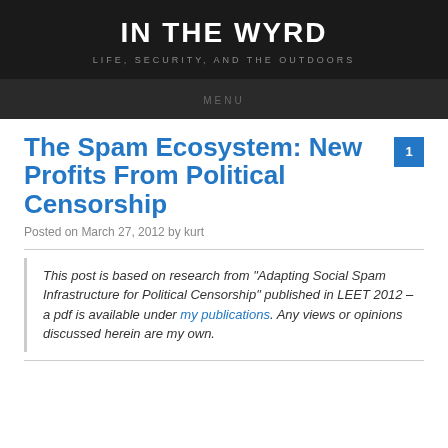IN THE WYRD
LIFE, SECURITY, AND THE OUTDOORS
MENU
The Spam Ecosystem: New Profits From Political Censorship
Posted on March 27, 2012 by kurt
This post is based on research from “Adapting Social Spam Infrastructure for Political Censorship” published in LEET 2012 – a pdf is available under my publications. Any views or opinions discussed herein are my own.